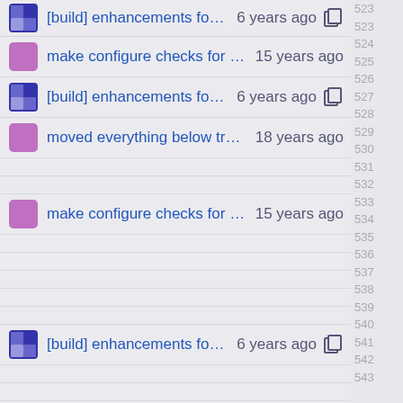[build] enhancements for cross-... 6 years ago  523
make configure checks for --wi... 15 years ago  523
[build] enhancements for cross-... 6 years ago  524
moved everything below trunk... 18 years ago  525
528 make configure checks for --wi... 15 years ago
534 [build] enhancements for cross-... 6 years ago